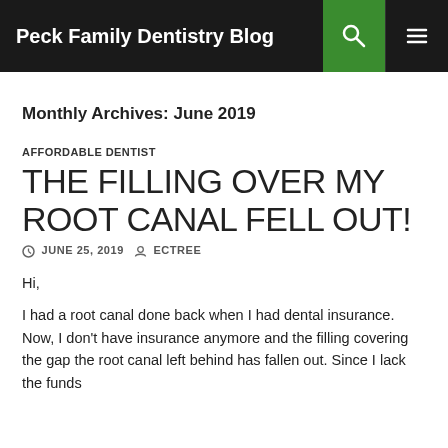Peck Family Dentistry Blog
Monthly Archives: June 2019
AFFORDABLE DENTIST
THE FILLING OVER MY ROOT CANAL FELL OUT!
JUNE 25, 2019   ECTREE
Hi,
I had a root canal done back when I had dental insurance. Now, I don't have insurance anymore and the filling covering the gap the root canal left behind has fallen out. Since I lack the funds